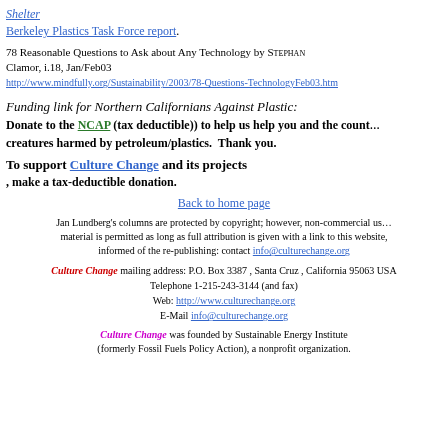Shelter
Berkeley Plastics Task Force report.
78 Reasonable Questions to Ask about Any Technology by STEPHAN
Clamor, i.18, Jan/Feb03
http://www.mindfully.org/Sustainability/2003/78-Questions-TechnologyFeb03.htm
Funding link for Northern Californians Against Plastic:
Donate to the NCAP (tax deductible)) to help us help you and the count... creatures harmed by petroleum/plastics. Thank you.
To support Culture Change and its projects
, make a tax-deductible donation.
Back to home page
Jan Lundberg's columns are protected by copyright; however, non-commercial us... material is permitted as long as full attribution is given with a link to this website, informed of the re-publishing: contact info@culturechange.org
Culture Change mailing address: P.O. Box 3387 , Santa Cruz , California 95063 USA
Telephone 1-215-243-3144 (and fax)
Web: http://www.culturechange.org
E-Mail info@culturechange.org
Culture Change was founded by Sustainable Energy Institute (formerly Fossil Fuels Policy Action), a nonprofit organization.